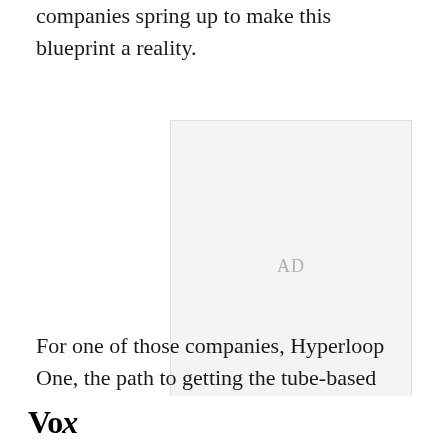companies spring up to make this blueprint a reality.
[Figure (other): Advertisement placeholder box with 'AD' label in light gray]
For one of those companies, Hyperloop One, the path to getting the tube-based transport system up
Vox